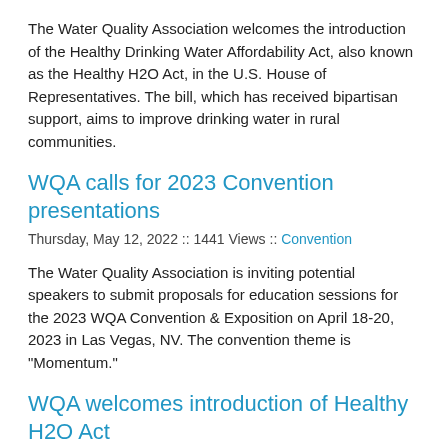The Water Quality Association welcomes the introduction of the Healthy Drinking Water Affordability Act, also known as the Healthy H2O Act, in the U.S. House of Representatives. The bill, which has received bipartisan support, aims to improve drinking water in rural communities.
WQA calls for 2023 Convention presentations
Thursday, May 12, 2022 :: 1441 Views :: Convention
The Water Quality Association is inviting potential speakers to submit proposals for education sessions for the 2023 WQA Convention & Exposition on April 18-20, 2023 in Las Vegas, NV. The convention theme is "Momentum."
WQA welcomes introduction of Healthy H2O Act
Friday, April 29, 2022 :: 1155 Views :: Government & Regulatory Affairs
The Water Quality Association welcomes the introduction of federal legislation that would offer federal grants for water testing and